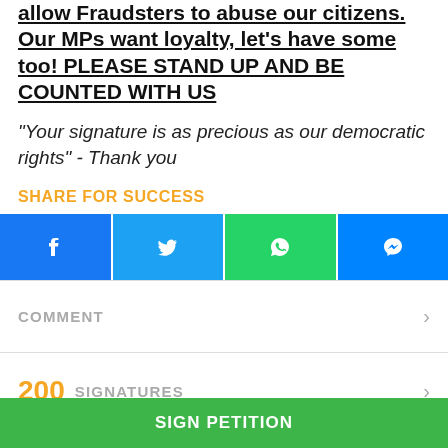allow Fraudsters to abuse our citizens. Our MPs want loyalty, let's have some too! PLEASE STAND UP AND BE COUNTED WITH US
"Your signature is as precious as our democratic rights" - Thank you
SHARE FOR SUCCESS
[Figure (infographic): Social share buttons: Facebook (blue), Twitter (light blue), WhatsApp (green), Messenger (blue)]
COMMENT
200 SIGNATURES
iPetitions is a product of Angle Three Associates, LLC, a Delaware company. All content Copyright
SIGN PETITION